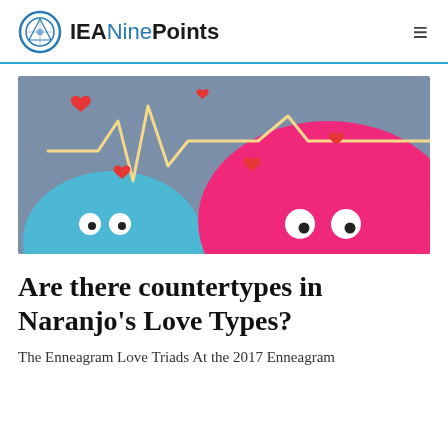IEANinePoints
[Figure (illustration): Colorful cartoon illustration showing two blob-shaped characters (one blue, one pink/magenta) with googly eyes, floating red hearts, and a heartbeat/EKG line on a grey-blue background.]
Are there countertypes in Naranjo's Love Types?
The Enneagram Love Triads At the 2017 Enneagram